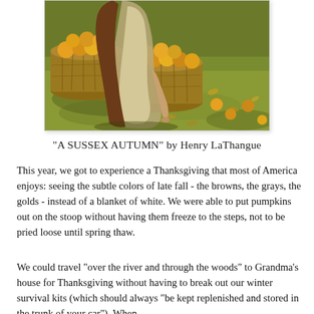[Figure (illustration): Painting of a woman in period dress kneeling on grass surrounded by large wicker baskets filled with apples, with more apples scattered on the ground. Rich autumn colors of gold and green.]
"A SUSSEX AUTUMN" by Henry LaThangue
This year, we got to experience a Thanksgiving that most of America enjoys: seeing the subtle colors of late fall - the browns, the grays, the golds - instead of a blanket of white. We were able to put pumpkins out on the stoop without having them freeze to the steps, not to be pried loose until spring thaw.
We could travel "over the river and through the woods" to Grandma's house for Thanksgiving without having to break out our winter survival kits (which should always "be kept replenished and stored in the trunk of your car"). When